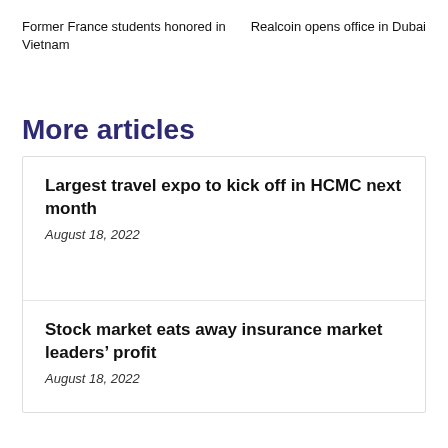Former France students honored in Vietnam
Realcoin opens office in Dubai
More articles
Largest travel expo to kick off in HCMC next month
August 18, 2022
Stock market eats away insurance market leaders’ profit
August 18, 2022